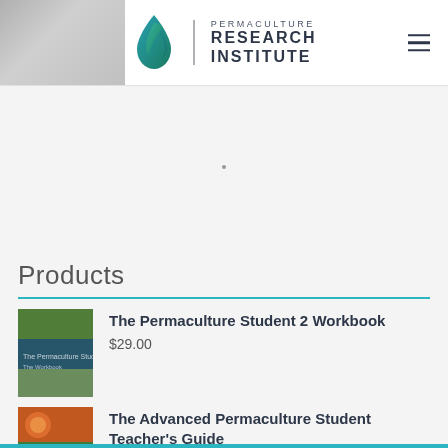[Figure (photo): Partial photo visible in top-left corner of the page header]
[Figure (logo): Permaculture Research Institute logo — water drop icon with teal/green colors, vertical divider, and text PERMACULTURE RESEARCH INSTITUTE]
Products
The Permaculture Student 2 Workbook
$29.00
The Advanced Permaculture Student Teacher's Guide
$29.00